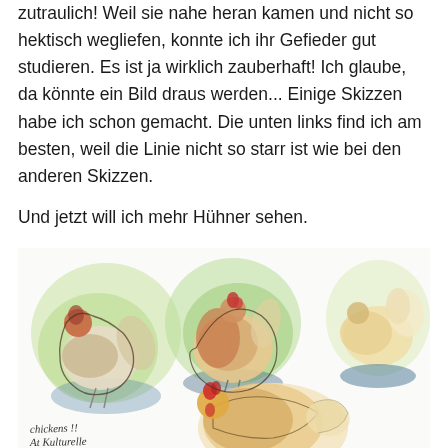zutraulich! Weil sie nahe heran kamen und nicht so hektisch wegliefen, konnte ich ihr Gefieder gut studieren. Es ist ja wirklich zauberhaft! Ich glaube, da könnte ein Bild draus werden... Einige Skizzen habe ich schon gemacht. Die unten links find ich am besten, weil die Linie nicht so starr ist wie bei den anderen Skizzen.

Und jetzt will ich mehr Hühner sehen.
[Figure (illustration): Watercolor sketches of chickens on a white background with green and blue washes. Four chicken sketches visible, with handwritten annotations 'chickens !! At Kulturelle' at bottom left.]